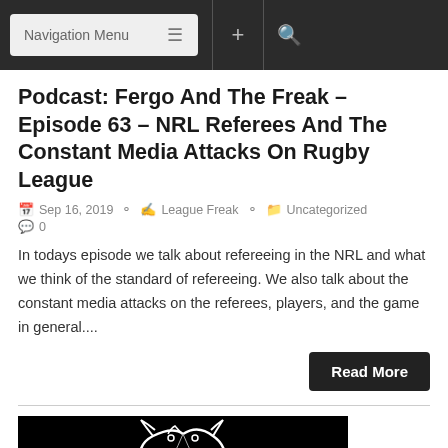Navigation Menu
Podcast: Fergo And The Freak – Episode 63 – NRL Referees And The Constant Media Attacks On Rugby League
Sep 16, 2019  League Freak  Uncategorized  0
In todays episode we talk about refereeing in the NRL and what we think of the standard of refereeing. We also talk about the constant media attacks on the referees, players, and the game in general....
Read More
[Figure (photo): Black background with a white outline illustration of a panther (Penrith Panthers logo), partially visible at the bottom of the page.]